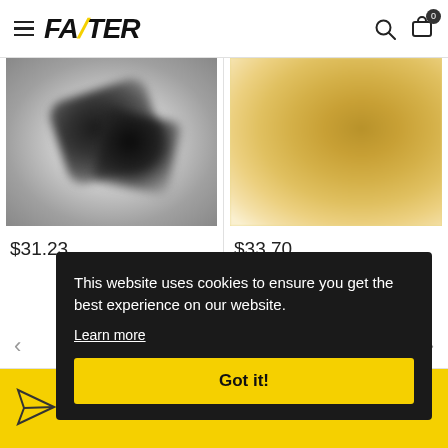FAZTER — navigation header with hamburger menu, logo, search icon, and cart icon (0 items)
[Figure (photo): Product thumbnail: dark/black blurred objects on light gray background, priced at $31.23]
$31.23
[Figure (photo): Product thumbnail: golden/tan blurred object on light background, priced at $33.70]
$33.70
< (previous arrow) and > (next arrow) navigation
[Figure (illustration): Paper plane icon on yellow strip with partial bold italic text visible]
This website uses cookies to ensure you get the best experience on our website.
Learn more
Got it!